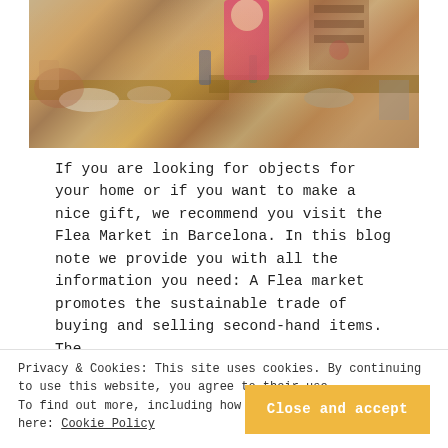[Figure (photo): A woman in a pink/red dress browsing items at a flea market with many antique objects, ceramics, furniture, and collectibles spread on tables outdoors.]
If you are looking for objects for your home or if you want to make a nice gift, we recommend you visit the Flea Market in Barcelona. In this blog note we provide you with all the information you need: A Flea market promotes the sustainable trade of buying and selling second-hand items. The
Privacy & Cookies: This site uses cookies. By continuing to use this website, you agree to their use.
To find out more, including how to control cookies, see here: Cookie Policy
Close and accept